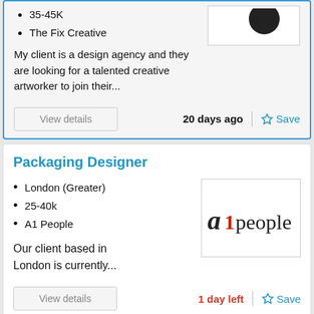35-45K
The Fix Creative
My client is a design agency and they are looking for a talented creative artworker to join their...
View details
20 days ago
Save
Packaging Designer
London (Greater)
25-40k
A1 People
[Figure (logo): A1 People company logo with stylized 'a1people' text]
Our client based in London is currently...
View details
1 day left
Save